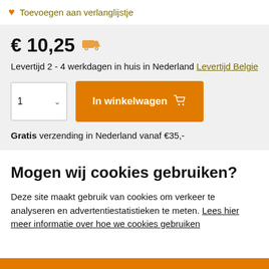Toevoegen aan verlanglijstje
€ 10,25
Levertijd 2 - 4 werkdagen in huis in Nederland Levertijd Belgie
1  In winkelwagen
Gratis verzending in Nederland vanaf €35,-
Mogen wij cookies gebruiken?
Deze site maakt gebruik van cookies om verkeer te analyseren en advertentiestatistieken te meten. Lees hier meer informatie over hoe we cookies gebruiken